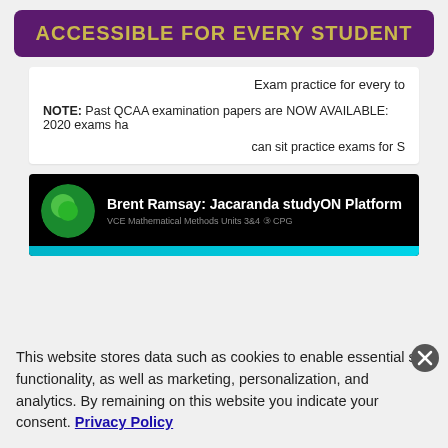ACCESSIBLE FOR EVERY STUDENT
Exam practice for every to
NOTE: Past QCAA examination papers are NOW AVAILABLE: 2020 exams ha
can sit practice exams for S
[Figure (screenshot): Video thumbnail showing Jacaranda logo and title: Brent Ramsay: Jacaranda studyON Platform, with subtitle about Mathematical Methods Units 3&4]
This website stores data such as cookies to enable essential site functionality, as well as marketing, personalization, and analytics. By remaining on this website you indicate your consent. Privacy Policy